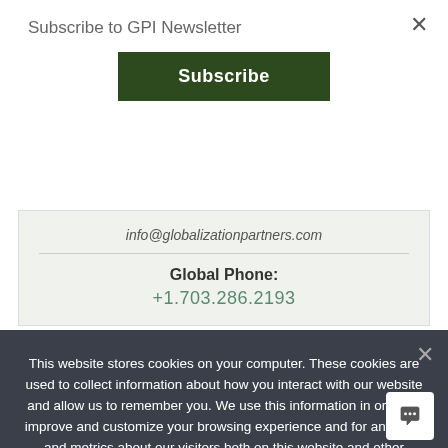Subscribe to GPI Newsletter
Subscribe
info@globalizationpartners.com
Global Phone:
+1.703.286.2193
This website stores cookies on your computer. These cookies are used to collect information about how you interact with our website and allow us to remember you. We use this information in order to improve and customize your browsing experience and for analytics and metrics about our visitors both on this website and other media. To find out more about the cookies we use, see our Privacy Policy. If you decline, your information won't be tracked when you visit this website. A single cookie will be used in your browser to remember your preference not to be tracked.
Accept
Decline
Privacy policy